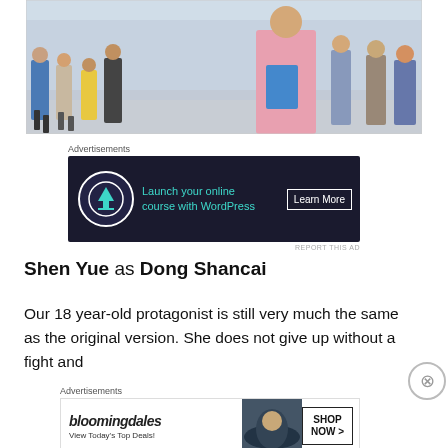[Figure (photo): Students walking on a university campus, with a girl in a pink hoodie holding blue books in the foreground]
Advertisements
[Figure (other): Advertisement banner: Launch your online course with WordPress — Learn More]
Shen Yue as Dong Shancai
Our 18 year-old protagonist is still very much the same as the original version. She does not give up without a fight and
Advertisements
[Figure (other): Advertisement banner: Bloomingdales — View Today's Top Deals! SHOP NOW >]